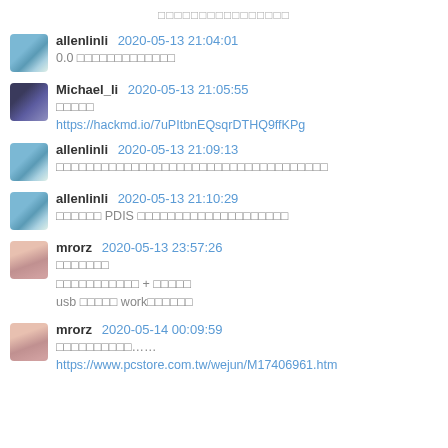（CJK text - chat system message）
allenlinli 2020-05-13 21:04:01
0.0 （CJK message）
Michael_li 2020-05-13 21:05:55
（CJK message）
https://hackmd.io/7uPItbnEQsqrDTHQ9ffKPg
allenlinli 2020-05-13 21:09:13
（CJK message）
allenlinli 2020-05-13 21:10:29
（CJK message） PDIS （CJK message）
mrorz 2020-05-13 23:57:26
（CJK message）
（CJK message） + （CJK message）
usb （CJK） work（CJK）
mrorz 2020-05-14 00:09:59
（CJK message）……
https://www.pcstore.com.tw/wejun/M17406961.htm